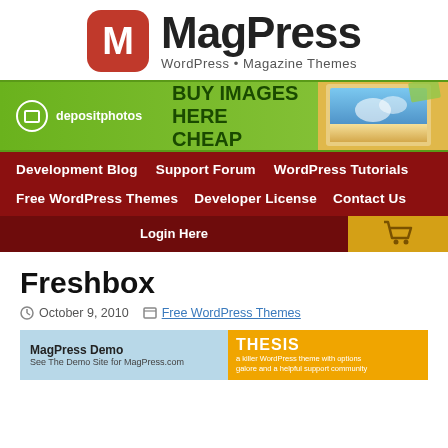[Figure (logo): MagPress logo with red rounded square M icon and WordPress Magazine Themes tagline]
[Figure (infographic): Deposit Photos banner ad: BUY IMAGES HERE CHEAP on green background]
[Figure (infographic): MagPress navigation menu with dark red background: Development Blog, Support Forum, WordPress Tutorials, Free WordPress Themes, Developer License, Contact Us, Login Here, and shopping cart icon]
Freshbox
October 9, 2010   Free WordPress Themes
[Figure (screenshot): MagPress Demo banner with Thesis advertisement on right side]